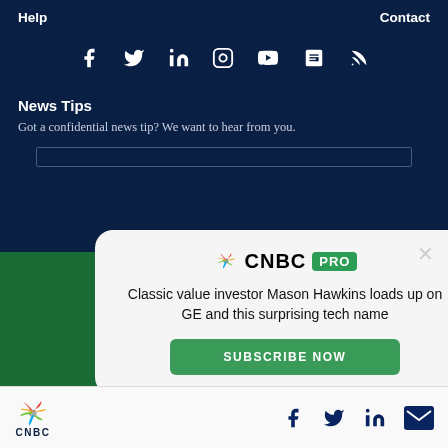Help    Contact
[Figure (illustration): Social media icons: Facebook, Twitter, LinkedIn, Instagram, YouTube, Apple News, RSS]
News Tips
Got a confidential news tip? We want to hear from you.
[Figure (infographic): CNBC PRO promotional modal with headline: Classic value investor Mason Hawkins loads up on GE and this surprising tech name, with Subscribe Now button]
[Figure (logo): CNBC peacock logo with social media icons (Facebook, Twitter, LinkedIn, email) in bottom navigation bar]